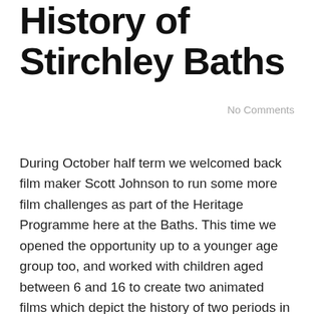History of Stirchley Baths
No Comments
During October half term we welcomed back film maker Scott Johnson to run some more film challenges as part of the Heritage Programme here at the Baths. This time we opened the opportunity up to a younger age group too, and worked with children aged between 6 and 16 to create two animated films which depict the history of two periods in the Baths' history timeline; setting the scene for their construction and opening (1903-1911) and the war years (1939-45).